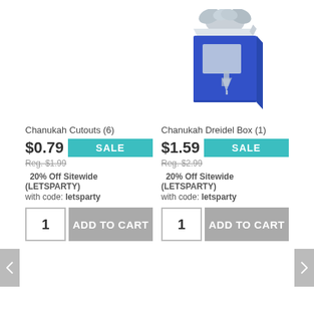[Figure (photo): Chanukah Dreidel Box product photo - blue glittery gift box with silver bow and dreidel design]
Chanukah Cutouts (6)
$0.79 SALE
Reg. $1.99
20% Off Sitewide (LETSPARTY)
with code: letsparty
1 ADD TO CART
Chanukah Dreidel Box (1)
$1.59 SALE
Reg. $2.99
20% Off Sitewide (LETSPARTY)
with code: letsparty
1 ADD TO CART